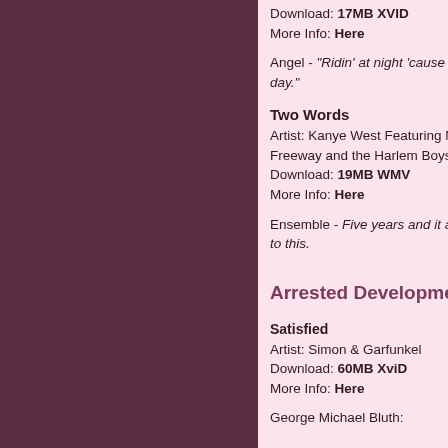Download: 17MB XVID
More Info: Here
Angel - "Ridin' at night 'cause I sleep all day."
Two Words
Artist: Kanye West Featuring Mos Def, Freeway and the Harlem Boys Choir
Download: 19MB WMV
More Info: Here
Ensemble - Five years and it all comes to this.
Arrested Development
Satisfied
Artist: Simon & Garfunkel
Download: 60MB XviD
More Info: Here
George Michael Bluth: